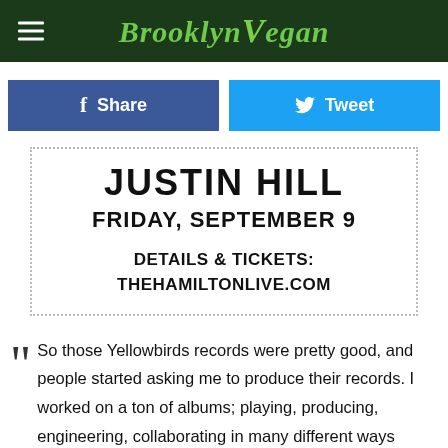BrooklynVegan
[Figure (other): Facebook Share button and Twitter Tweet button social sharing row]
JUSTIN HILL
FRIDAY, SEPTEMBER 9

DETAILS & TICKETS:
THEHAMILTONLIVE.COM
So those Yellowbirds records were pretty good, and people started asking me to produce their records. I worked on a ton of albums; playing, producing, engineering, collaborating in many different ways (sometimes with famous people).

I started to hear what I sound like, so I became Sam